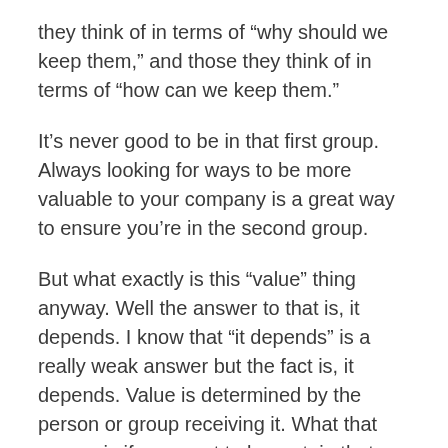they think of in terms of “why should we keep them,” and those they think of in terms of “how can we keep them.”
It’s never good to be in that first group. Always looking for ways to be more valuable to your company is a great way to ensure you’re in the second group.
But what exactly is this “value” thing anyway. Well the answer to that is, it depends. I know that “it depends” is a really weak answer but the fact is, it depends. Value is determined by the person or group receiving it. What that means is if you want to be certain that you’re adding value you’re going to have to ask.
If you’ve never sat down with your manager or leader and asked what you can do to add more value to your company or organization then you ought to consider